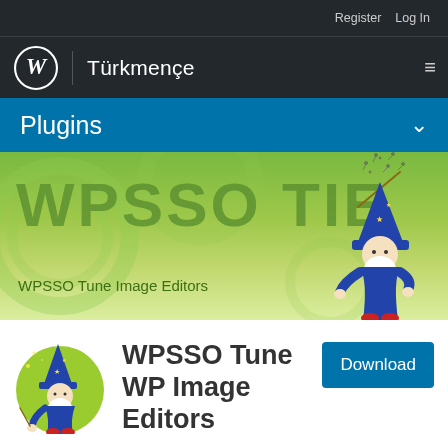Register  Log In
Türkmençe
Plugins
[Figure (illustration): WPSSO TIE banner with green gradient background, large text 'WPSSO TIE', subtitle 'WPSSO Tune Image Editors', and a cartoon wizard holding a magic wand on the right side. Decorative circular shapes in background.]
[Figure (logo): Plugin icon: cartoon wizard in blue robe and hat standing on green circle background]
WPSSO Tune WP Image Editors
Download